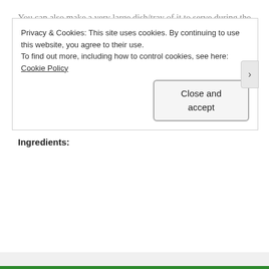You can also make a very large dish/tray of it to serve during the holidays. Since there's no crust, you won't need to worry about it getting soggy.
That's totally NGUYEN-ing!
20-ish Minute Chicken Parmigiana
Serves 4
Ingredients:
Privacy & Cookies: This site uses cookies. By continuing to use this website, you agree to their use.
To find out more, including how to control cookies, see here: Cookie Policy
Close and accept